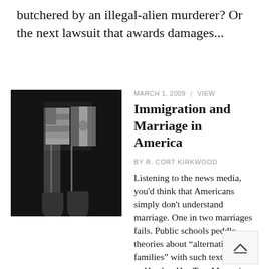butchered by an illegal-alien murderer?  Or the next lawsuit that awards damages...
[Figure (photo): Black and white photo of hands holding small American and Mexican flags]
MARCH 1, 2009  |  VIEW
Immigration and Marriage in America
BY R. CORT KIRKWOOD
Listening to the news media, you'd think that Americans simply don't understand marriage.  One in two marriages fails.  Public schools peddle theories about "alternative families" with such textbooks as Heather Has Two Mommi... Single women run hither a... yon looking for Mr. Goodbar, who turns out to be a white-frocked fertility guru equipped